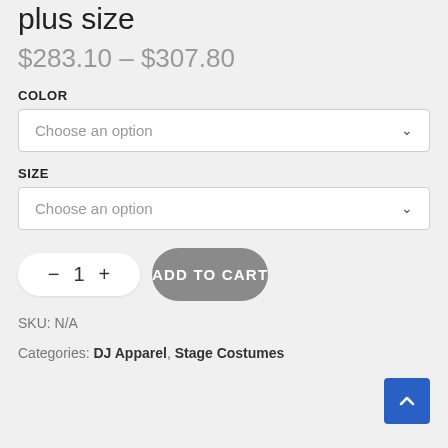plus size
$283.10 – $307.80
COLOR
Choose an option
SIZE
Choose an option
1
ADD TO CART
SKU: N/A
Categories: DJ Apparel, Stage Costumes